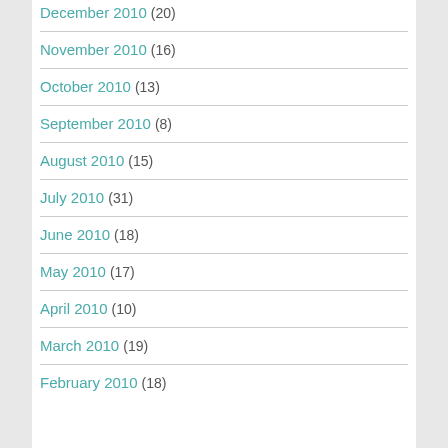December 2010 (20)
November 2010 (16)
October 2010 (13)
September 2010 (8)
August 2010 (15)
July 2010 (31)
June 2010 (18)
May 2010 (17)
April 2010 (10)
March 2010 (19)
February 2010 (18)